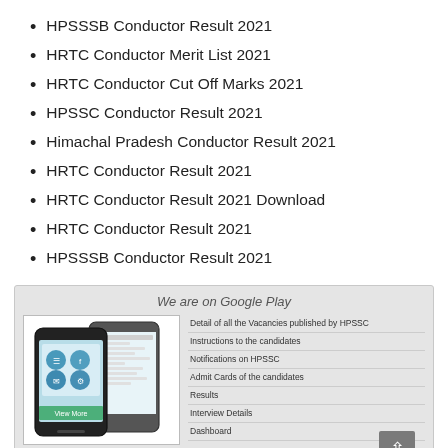HPSSSB Conductor Result 2021
HRTC Conductor Merit List 2021
HRTC Conductor Cut Off Marks 2021
HPSSC Conductor Result 2021
Himachal Pradesh Conductor Result 2021
HRTC Conductor Result 2021
HRTC Conductor Result 2021 Download
HRTC Conductor Result 2021
HPSSSB Conductor Result 2021
[Figure (screenshot): Google Play Store promotional banner for Himachal Pradesh Staff Selection Commission app, showing a mobile phone mockup with app icons and a list of features: Detail of all the Vacancies published by HPSSC, Instructions to the candidates, Notifications on HPSSC, Admit Cards of the candidates, Results, Interview Details, Dashboard, Download the Application from Google Play Store. Title: We are on Google Play. Link: Himachal Pradesh Staff Selection Commission.]